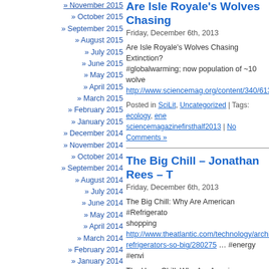» November 2015
» October 2015
» September 2015
» August 2015
» July 2015
» June 2015
» May 2015
» April 2015
» March 2015
» February 2015
» January 2015
» December 2014
» November 2014
» October 2014
» September 2014
» August 2014
» July 2014
» June 2014
» May 2014
» April 2014
» March 2014
» February 2014
» January 2014
» December 2013
» November 2013
» October 2013
» September 2013
» August 2013
» July 2013
» June 2013
» May 2013
» April 2013
» March 2013
Are Isle Royale's Wolves Chasing...
Friday, December 6th, 2013
Are Isle Royale's Wolves Chasing Extinction? #globalwarming; now population of ~10 wolves http://www.sciencemag.org/content/340/6135...
Posted in SciLit, Uncategorized | Tags: ecology, ene... sciencemagazinefirsthalf2013 | No Comments »
The Big Chill – Jonathan Rees – T...
Friday, December 6th, 2013
The Big Chill: Why Are American #Refrigerato... shopping http://www.theatlantic.com/technology/archive... refrigerators-so-big/280275 … #energy #envi...
The Huge Chill: Why Are American Refrigerat...
Posted in -, Uncategorized | Tags: energy, energyan...